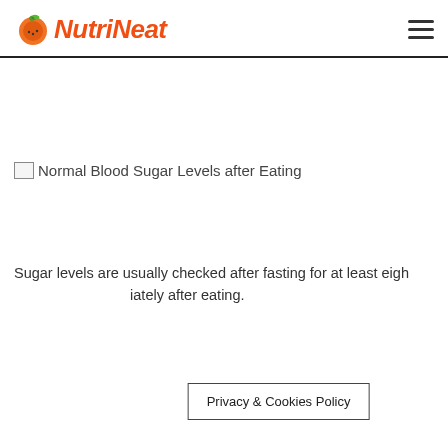NutriNeat
[Figure (photo): Broken image placeholder for 'Normal Blood Sugar Levels after Eating']
Normal Blood Sugar Levels after Eating
Sugar levels are usually checked after fasting for at least eigh... iately after eating.
Privacy & Cookies Policy